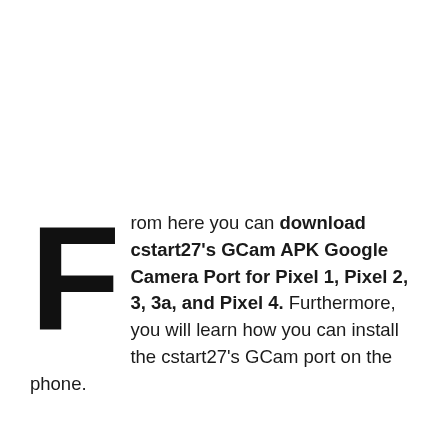From here you can download cstart27's GCam APK Google Camera Port for Pixel 1, Pixel 2, 3, 3a, and Pixel 4. Furthermore, you will learn how you can install the cstart27's GCam port on the phone.